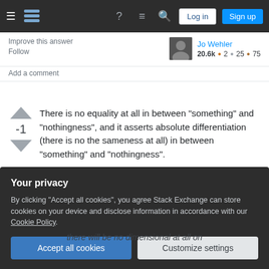Stack Exchange navigation bar with Log in and Sign up buttons
Improve this answer
Follow
Jo Wehler
20.6k • 2 • 25 • 75
Add a comment
There is no equality at all in between "something" and "nothingness", and it asserts absolute differentiation (there is no the sameness at all) in between "something" and "nothingness".
Absolute differentiation in between "something" and "nothingness, it asserts essential differentiation (it's ...
Your privacy
By clicking "Accept all cookies", you agree Stack Exchange can store cookies on your device and disclose information in accordance with our Cookie Policy.
Accept all cookies   Customize settings
there will be no dimensional at all on